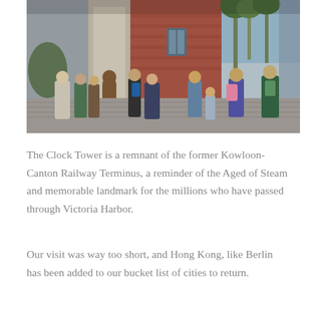[Figure (photo): Photograph of people walking in front of a historic brick and stone building with tall palm trees in the background. Multiple people with backpacks are visible; the setting appears to be a public square or walkway near the Clock Tower in Hong Kong.]
The Clock Tower is a remnant of the former Kowloon-Canton Railway Terminus, a reminder of the Aged of Steam and memorable landmark for the millions who have passed through Victoria Harbor.
Our visit was way too short, and Hong Kong, like Berlin has been added to our bucket list of cities to return.